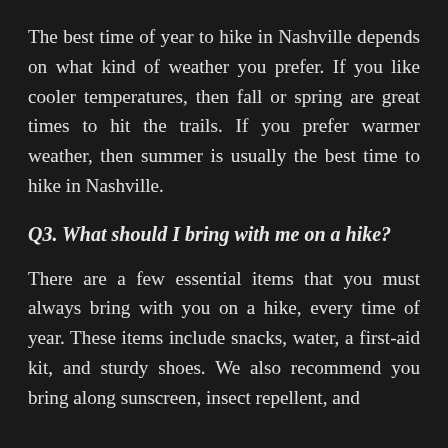The best time of year to hike in Nashville depends on what kind of weather you prefer. If you like cooler temperatures, then fall or spring are great times to hit the trails. If you prefer warmer weather, then summer is usually the best time to hike in Nashville.
Q3. What should I bring with me on a hike?
There are a few essential items that you must always bring with you on a hike, every time of year. These items include snacks, water, a first-aid kit, and sturdy shoes. We also recommend you bring along sunscreen, insect repellent, and